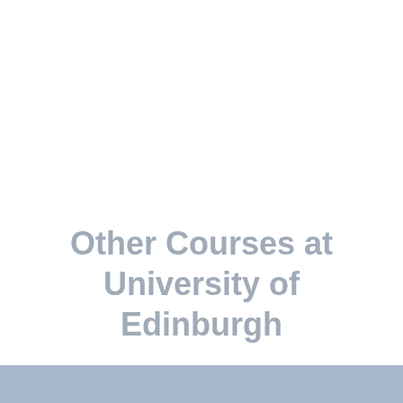Other Courses at University of Edinburgh